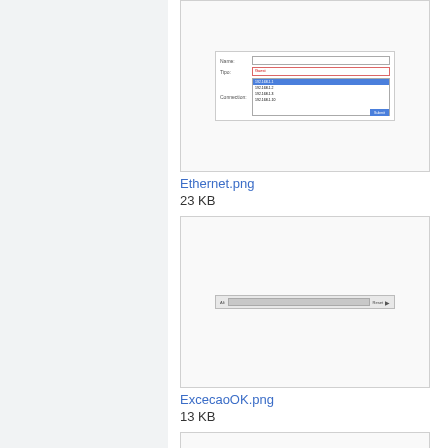[Figure (screenshot): Screenshot of an Ethernet network configuration dialog with fields and a dropdown list]
Ethernet.png
23 KB
[Figure (screenshot): Screenshot of an ExcecaoOK dialog with a progress/slider bar]
ExcecaoOK.png
13 KB
[Figure (screenshot): Screenshot showing a Usuarios (Users) section header with teal/light blue background]